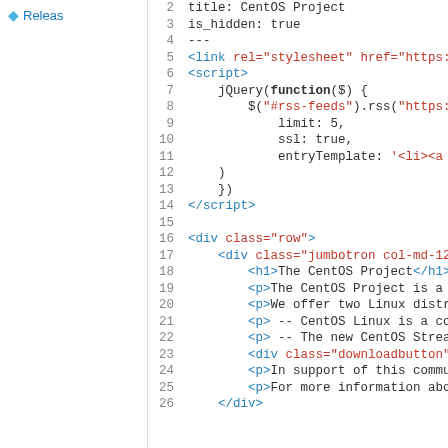[Figure (screenshot): Code editor screenshot showing HTML/YAML source code with line numbers 2-26, syntax highlighted. Left sidebar shows a 'Releas' navigation item. Code includes YAML front matter, script tag with jQuery RSS feed setup, and HTML markup for a CentOS Project page.]